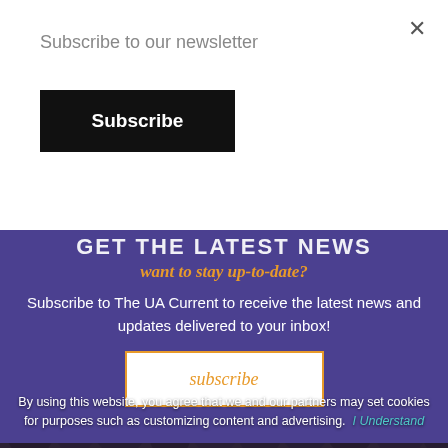×
Subscribe to our newsletter
Subscribe
GET THE LATEST NEWS
want to stay up-to-date?
Subscribe to The UA Current to receive the latest news and updates delivered to your inbox!
subscribe
By using this website, you agree that we and our partners may set cookies for purposes such as customizing content and advertising.  I Understand